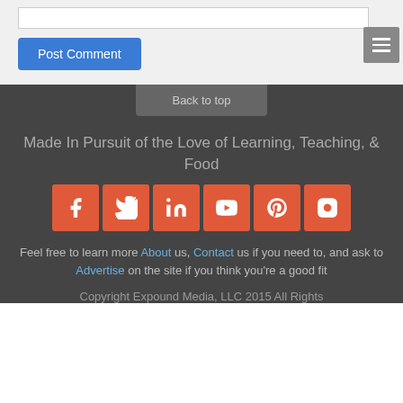[input box]
Post Comment
[Figure (other): Hamburger menu button icon with three horizontal lines]
Back to top
Made In Pursuit of the Love of Learning, Teaching, & Food
[Figure (other): Social media icons row: Facebook, Twitter, LinkedIn, YouTube, Pinterest, Instagram — all orange/red square buttons with white icons]
Feel free to learn more About us, Contact us if you need to, and ask to Advertise on the site if you think you're a good fit
Copyright Expound Media, LLC 2015 All Rights